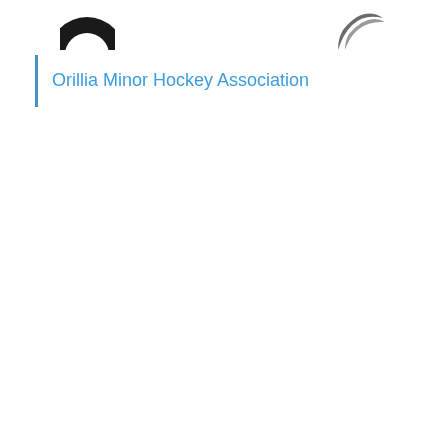[Figure (logo): Two partial logo icons visible at top of page — a black circular quartered icon on the left and a dark grey crescent/wing shape on the right]
Orillia Minor Hockey Association